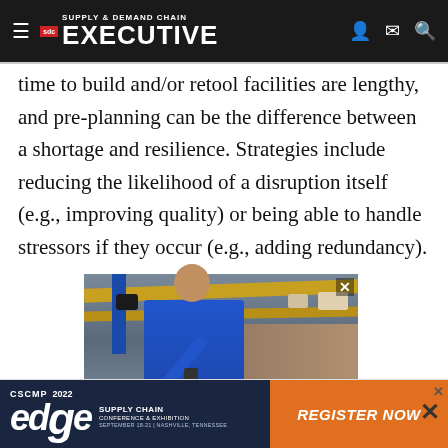Supply & Demand Chain Executive
time to build and/or retool facilities are lengthy, and pre-planning can be the difference between a shortage and resilience. Strategies include reducing the likelihood of a disruption itself (e.g., improving quality) or being able to handle stressors if they occur (e.g., adding redundancy).
[Figure (photo): Warehouse worker in blue shirt scanning inventory on shelving with yellow racking in background]
[Figure (infographic): CSCMP 2022 Edge Supply Chain Conference & Exhibition advertisement banner with orange Register Now button]